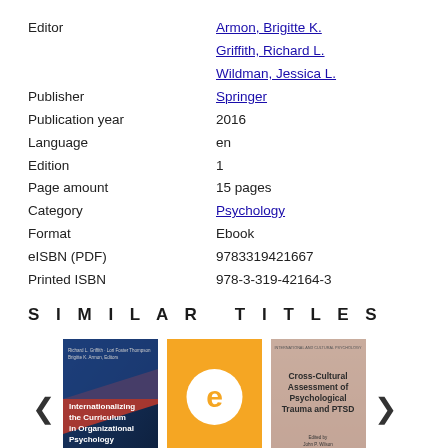| Field | Value |
| --- | --- |
| Editor | Armon, Brigitte K. |
|  | Griffith, Richard L. |
|  | Wildman, Jessica L. |
| Publisher | Springer |
| Publication year | 2016 |
| Language | en |
| Edition | 1 |
| Page amount | 15 pages |
| Category | Psychology |
| Format | Ebook |
| eISBN (PDF) | 9783319421667 |
| Printed ISBN | 978-3-319-42164-3 |
SIMILAR TITLES
[Figure (illustration): Three book covers for similar titles: (1) Internationalizing the Curriculum in Organizational Psychology - blue/red cover with Springer logo; (2) Orange cover with white circle 'e' logo; (3) Cross-Cultural Assessment of Psychological Trauma and PTSD - pink/beige cover. Left and right navigation arrows visible.]